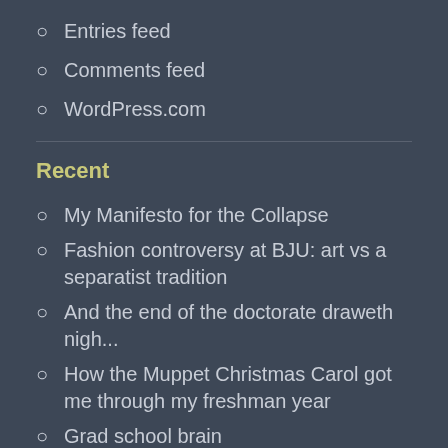Entries feed
Comments feed
WordPress.com
Recent
My Manifesto for the Collapse
Fashion controversy at BJU: art vs a separatist tradition
And the end of the doctorate draweth nigh...
How the Muppet Christmas Carol got me through my freshman year
Grad school brain